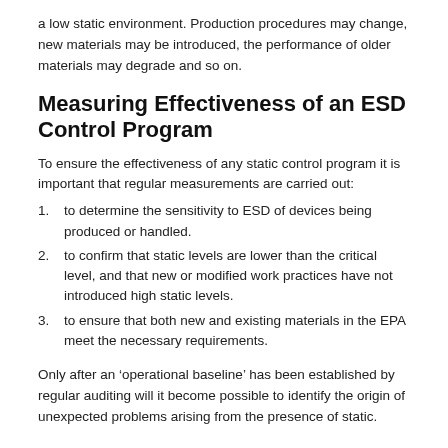a low static environment. Production procedures may change, new materials may be introduced, the performance of older materials may degrade and so on.
Measuring Effectiveness of an ESD Control Program
To ensure the effectiveness of any static control program it is important that regular measurements are carried out:
to determine the sensitivity to ESD of devices being produced or handled.
to confirm that static levels are lower than the critical level, and that new or modified work practices have not introduced high static levels.
to ensure that both new and existing materials in the EPA meet the necessary requirements.
Only after an ‘operational baseline’ has been established by regular auditing will it become possible to identify the origin of unexpected problems arising from the presence of static.